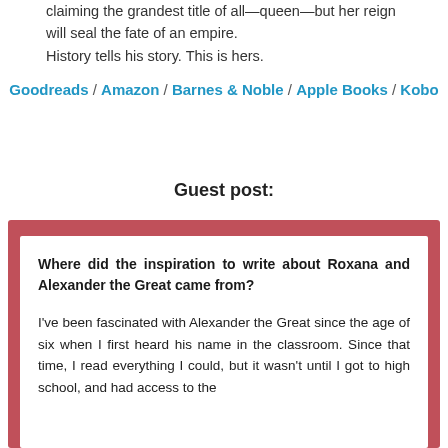claiming the grandest title of all—queen—but her reign will seal the fate of an empire.
History tells his story. This is hers.
Goodreads / Amazon / Barnes & Noble / Apple Books / Kobo
Guest post:
Where did the inspiration to write about Roxana and Alexander the Great came from?
I've been fascinated with Alexander the Great since the age of six when I first heard his name in the classroom. Since that time, I read everything I could, but it wasn't until I got to high school, and had access to the